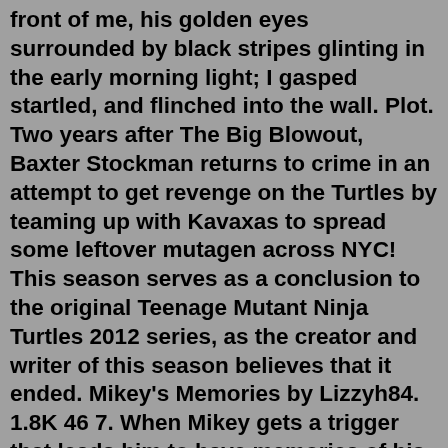front of me, his golden eyes surrounded by black stripes glinting in the early morning light; I gasped startled, and flinched into the wall. Plot. Two years after The Big Blowout, Baxter Stockman returns to crime in an attempt to get revenge on the Turtles by teaming up with Kavaxas to spread some leftover mutagen across NYC! This season serves as a conclusion to the original Teenage Mutant Ninja Turtles 2012 series, as the creator and writer of this season believes that it ended. Mikey's Memories by Lizzyh84. 1.8K 46 7. When Mikey gets a trigger that leads him to have memories of his life as a turtle pre mutation, he learns things he wishes he didn't about a certain someone, how will he... tmnt2012. mikey. tmnt. +1 more. # 4. death to me- mikey and raph fanfic by Amy Ray. Oct 02, 2015 · Mikey found himself sitting at the kitchen's table, buried in his thoughts. He was upset and puzzled. After a time, Raphael came out of the room. He was grumpy, and very exhausted. He shuffled in the bathroom with